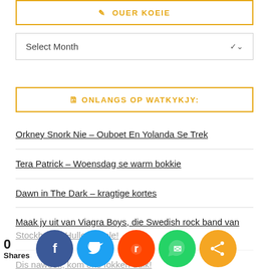✎ OUER KOEIE
Select Month
🖺 ONLANGS OP WATKYKJY:
Orkney Snork Nie – Ouboet En Yolanda Se Trek
Tera Patrick – Woensdag se warm bokkie
Dawn in The Dark – kragtige kortes
Maak jy uit van Viagra Boys, die Swedish rock band van Stockholm? Hulle is piele!
Dis naweek, kom ons fokken duik!
Drie avontuurlustige movies om jou verbeelding te prikkel die naweek
0 Shares